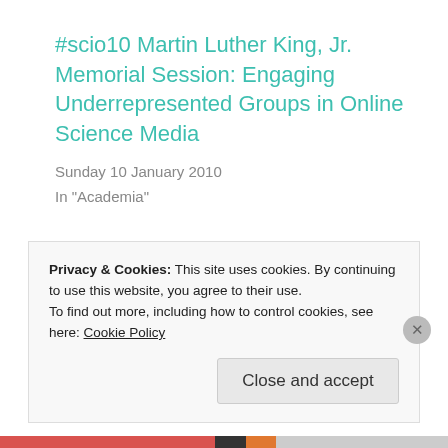#scio10 Martin Luther King, Jr. Memorial Session: Engaging Underrepresented Groups in Online Science Media
Sunday 10 January 2010
In "Academia"
Blogging community, HBCU, The American South, The Old North State
Privacy & Cookies: This site uses cookies. By continuing to use this website, you agree to their use.
To find out more, including how to control cookies, see here: Cookie Policy
Close and accept